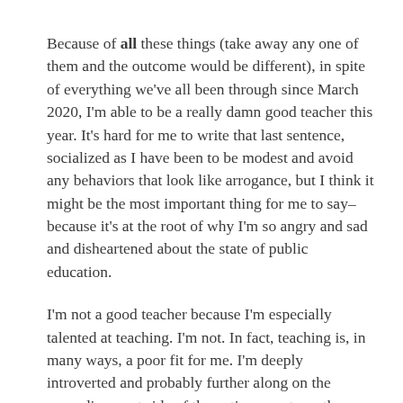Because of all these things (take away any one of them and the outcome would be different), in spite of everything we've all been through since March 2020, I'm able to be a really damn good teacher this year. It's hard for me to write that last sentence, socialized as I have been to be modest and avoid any behaviors that look like arrogance, but I think it might be the most important thing for me to say–because it's at the root of why I'm so angry and sad and disheartened about the state of public education.
I'm not a good teacher because I'm especially talented at teaching. I'm not. In fact, teaching is, in many ways, a poor fit for me. I'm deeply introverted and probably further along on the neurodivergent side of the autism spectrum than most people know and I hate being the center of attention. I'm not charismatic and I'm not a performer and, frankly, I'm not anyone's idea of fun. I'm serious and earnest and I often don't get the joke.